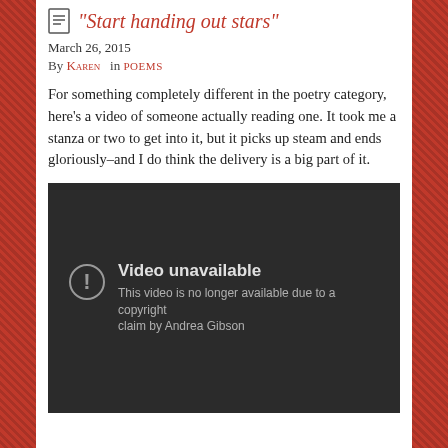"Start handing out stars"
March 26, 2015
By Karen  in POEMS
For something completely different in the poetry category, here's a video of someone actually reading one. It took me a stanza or two to get into it, but it picks up steam and ends gloriously–and I do think the delivery is a big part of it.
[Figure (screenshot): Embedded YouTube video showing 'Video unavailable' message: 'This video is no longer available due to a copyright claim by Andrea Gibson']